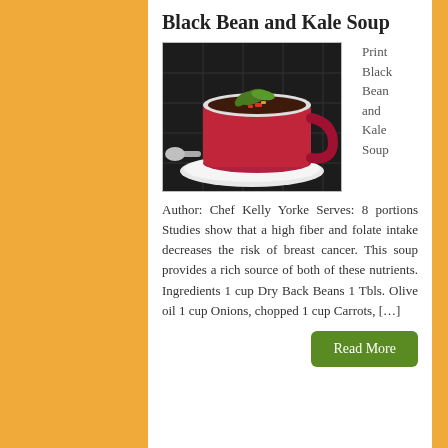Black Bean and Kale Soup
[Figure (photo): A red mug filled with black bean soup, garnished with fresh cilantro and diced vegetables, sitting on a white saucer with a spoon beside it.]
Print Black Bean and Kale Soup
Author: Chef Kelly Yorke Serves: 8 portions Studies show that a high fiber and folate intake decreases the risk of breast cancer. This soup provides a rich source of both of these nutrients. Ingredients 1 cup Dry Back Beans 1 Tbls. Olive oil 1 cup Onions, chopped 1 cup Carrots, […]
Read More